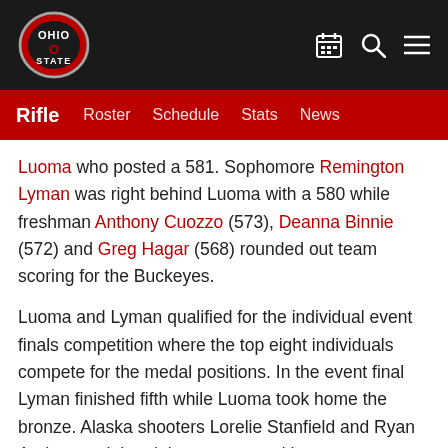Ohio State — navigation header with logo and icons
Rifle   Roster   Schedule   Stats   News
Luoma who posted a 581. Sophomore Remington Lyman was right behind Luoma with a 580 while freshman Anthony Cuozzo (573), Deanna Binnie (572) and Greg Hagar (568) rounded out team scoring for the Buckeyes.
Luoma and Lyman qualified for the individual event finals competition where the top eight individuals compete for the medal positions. In the event final Lyman finished fifth while Luoma took home the bronze. Alaska shooters Lorelie Stanfield and Ryan Anderson claimed the top two positions.
In air rifle Ohio State fired a 2334 led by Lyman who posted a